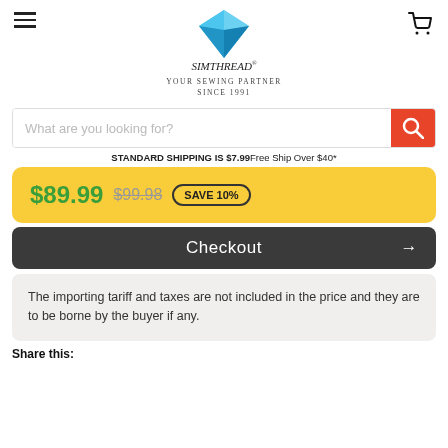[Figure (logo): Simthread logo with blue diamond and script text, tagline YOUR SEWING PARTNER SINCE 1991]
What are you looking for?
STANDARD SHIPPING IS $7.99Free Ship Over $40*
$89.99 $99.98 SAVE 10%
Checkout →
The importing tariff and taxes are not included in the price and they are to be borne by the buyer if any.
Share this: